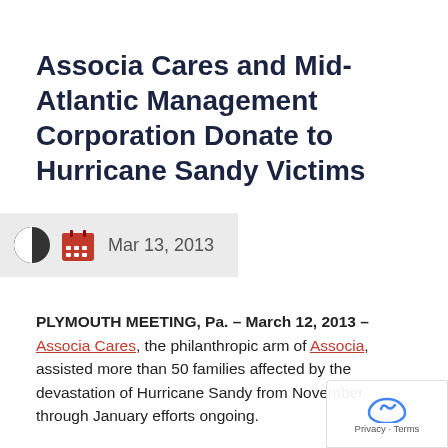Associa Cares and Mid-Atlantic Management Corporation Donate to Hurricane Sandy Victims
Mar 13, 2013
PLYMOUTH MEETING, Pa. – March 12, 2013 – Associa Cares, the philanthropic arm of Associa, assisted more than 50 families affected by the devastation of Hurricane Sandy from November through January efforts ongoing.